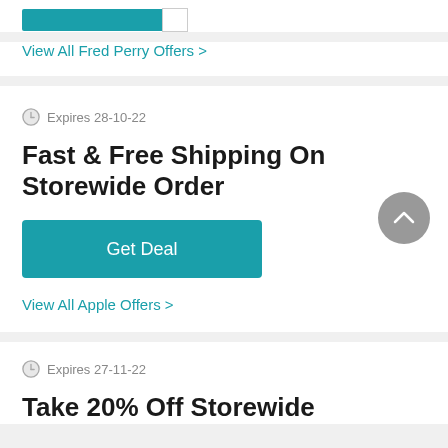[Figure (other): Partial teal progress/button bar at top of page]
View All Fred Perry Offers >
Expires 28-10-22
Fast & Free Shipping On Storewide Order
Get Deal
View All Apple Offers >
Expires 27-11-22
Take 20% Off Storewide